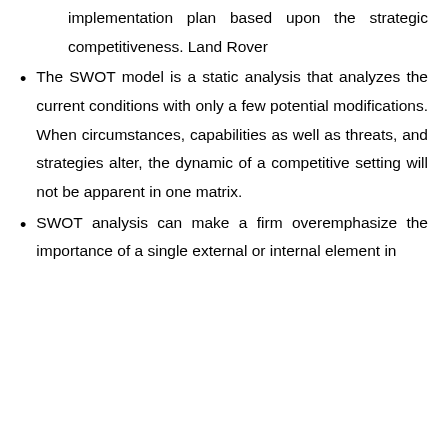implementation plan based upon the strategic competitiveness. Land Rover
The SWOT model is a static analysis that analyzes the current conditions with only a few potential modifications. When circumstances, capabilities as well as threats, and strategies alter, the dynamic of a competitive setting will not be apparent in one matrix.
SWOT analysis can make a firm overemphasize the importance of a single external or internal element in